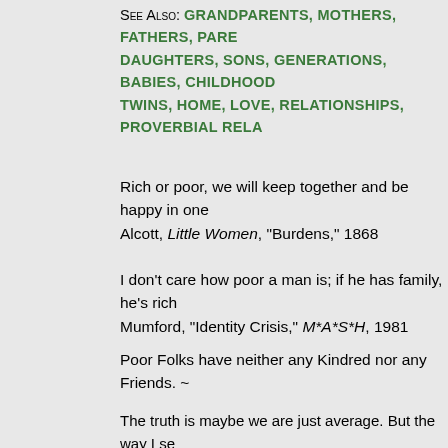See Also: GRANDPARENTS, MOTHERS, FATHERS, PARENTS, DAUGHTERS, SONS, GENERATIONS, BABIES, CHILDHOOD, TWINS, HOME, LOVE, RELATIONSHIPS, PROVERBIAL RELA...
Rich or poor, we will keep together and be happy in one... Alcott, Little Women, "Burdens," 1868
I don't care how poor a man is; if he has family, he's rich... Mumford, "Identity Crisis," M*A*S*H, 1981
Poor Folks have neither any Kindred nor any Friends. ~...
The truth is maybe we are just average. But the way I see... parents get up every morning and go to jobs that are har... through school and through life, and struggle to make it a... it with dignity and a little humor — well, that's not averag... ~The Middle, "Average Rules," 2010, written by DeAnn b... [S1, E24, Frankie Heck]
Families are like fudge — mostly sweet with a few nuts...